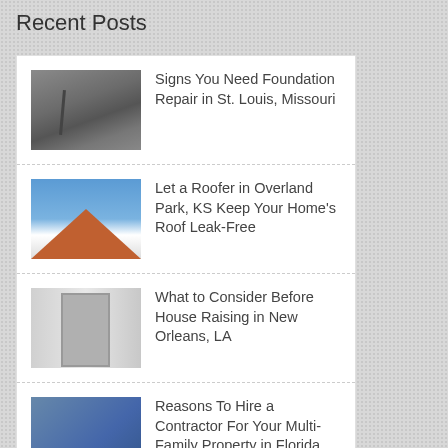Recent Posts
Signs You Need Foundation Repair in St. Louis, Missouri
Let a Roofer in Overland Park, KS Keep Your Home's Roof Leak-Free
What to Consider Before House Raising in New Orleans, LA
Reasons To Hire a Contractor For Your Multi-Family Property in Florida
How to Meet Construction Project Labor Regulatory Compliance With Ease